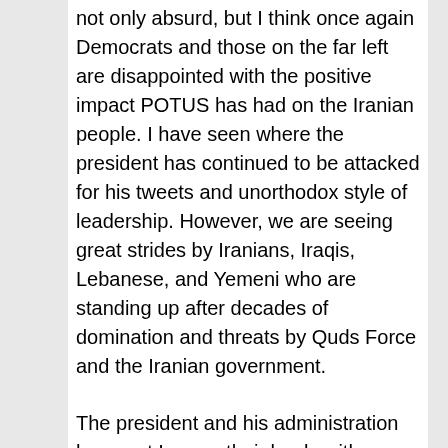not only absurd, but I think once again Democrats and those on the far left are disappointed with the positive impact POTUS has had on the Iranian people. I have seen where the president has continued to be attacked for his tweets and unorthodox style of leadership. However, we are seeing great strides by Iranians, Iraqis, Lebanese, and Yemeni who are standing up after decades of domination and threats by Quds Force and the Iranian government.
The president and his administration have put Iran on their heels with sanctions announced by Secretary Steven Mnuchin, as well as the military counter-terrorism strike that left Soleimani and Abu Mehdi al-Muhandis dead.
President Trump not only inherited an appeasement tour over the past administration that strengthen the propaganda/ information warfare campaign by Iran and